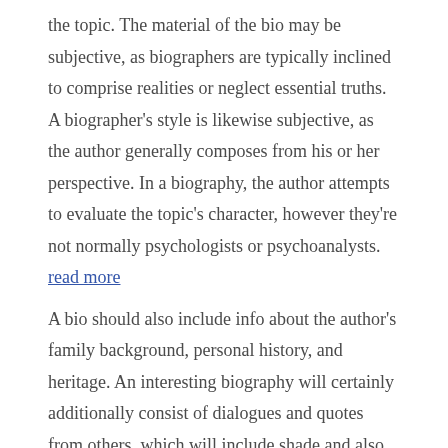the topic. The material of the bio may be subjective, as biographers are typically inclined to comprise realities or neglect essential truths. A biographer's style is likewise subjective, as the author generally composes from his or her perspective. In a biography, the author attempts to evaluate the topic's character, however they're not normally psychologists or psychoanalysts. read more
A bio should also include info about the author's family background, personal history, and heritage. An interesting biography will certainly additionally consist of dialogues and quotes from others, which will include shade and also make the material a lot more legible. An excellent biographer will have a strong technological understanding of the structure of